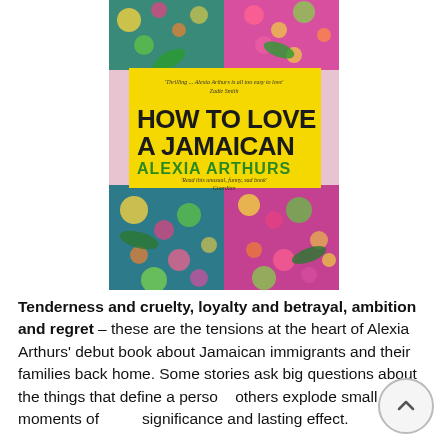[Figure (illustration): Book cover for 'How to Love a Jamaican' by Alexia Arthurs. Yellow background with bold black title text and green author name. Colorful floral and tropical imagery surrounds the yellow title area. Quotes from Zadie Smith and Guardian visible.]
Tenderness and cruelty, loyalty and betrayal, ambition and regret – these are the tensions at the heart of Alexia Arthurs' debut book about Jamaican immigrants and their families back home. Some stories ask big questions about the things that define a person; others explode small moments of deep significance and lasting effect.